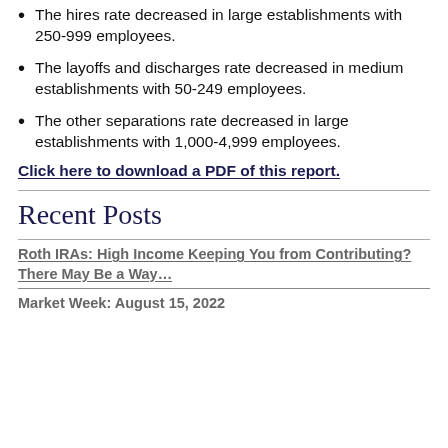The hires rate decreased in large establishments with 250-999 employees.
The layoffs and discharges rate decreased in medium establishments with 50-249 employees.
The other separations rate decreased in large establishments with 1,000-4,999 employees.
Click here to download a PDF of this report.
Recent Posts
Roth IRAs: High Income Keeping You from Contributing? There May Be a Way…
Market Week: August 15, 2022